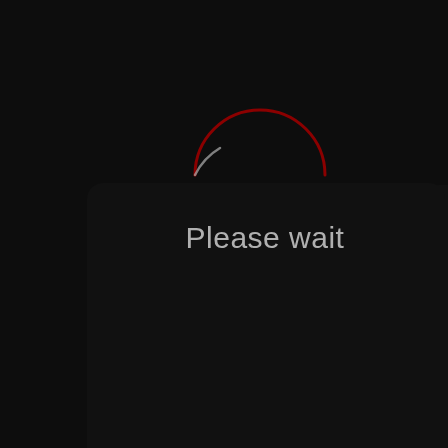[Figure (screenshot): Dark UI screen showing a loading dialog. A rounded rectangle dark panel occupies the center-lower portion of the image against a near-black background. A red arc (partial circle/spinner indicator) appears above the panel. The panel contains the text 'Please wait' in light gray near the top of the panel.]
Please wait